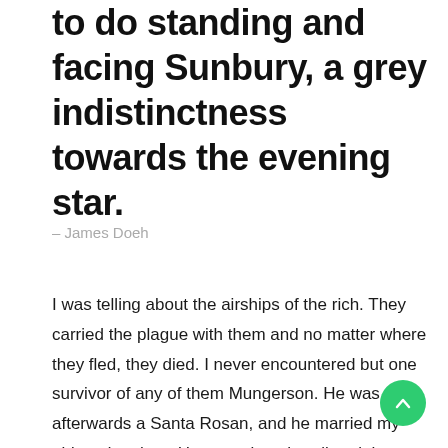to do standing and facing Sunbury, a grey indistinctness towards the evening star.
– James Doeh
I was telling about the airships of the rich. They carried the plague with them and no matter where they fled, they died. I never encountered but one survivor of any of them Mungerson. He was afterwards a Santa Rosan, and he married my eldest daughter. He came into the tribe eight years after the plague. He was then nineteen years old, and he was compelled to wait twelve years more before he could marry.